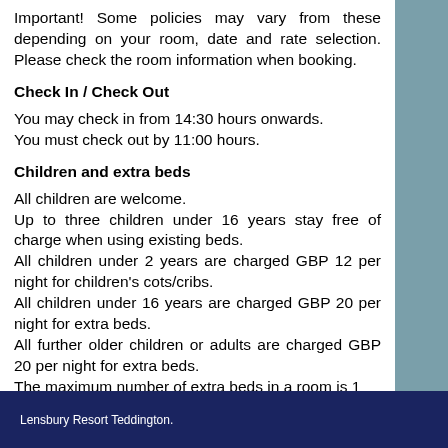Important! Some policies may vary from these depending on your room, date and rate selection. Please check the room information when booking.
Check In / Check Out
You may check in from 14:30 hours onwards.
You must check out by 11:00 hours.
Children and extra beds
All children are welcome.
Up to three children under 16 years stay free of charge when using existing beds.
All children under 2 years are charged GBP 12 per night for children's cots/cribs.
All children under 16 years are charged GBP 20 per night for extra beds.
All further older children or adults are charged GBP 20 per night for extra beds.
The maximum number of extra beds in a room is 1
Lensbury Resort Teddington.